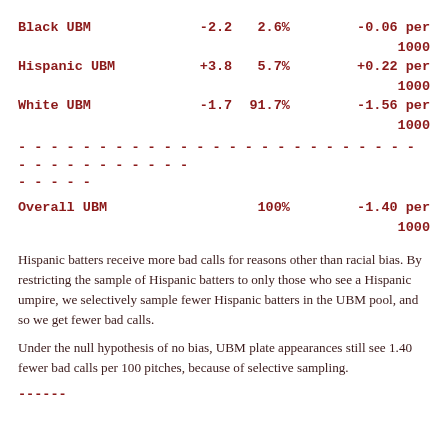| Group | Value | Pct | Rate |
| --- | --- | --- | --- |
| Black UBM | -2.2 | 2.6% | -0.06 per 1000 |
| Hispanic UBM | +3.8 | 5.7% | +0.22 per 1000 |
| White UBM | -1.7 | 91.7% | -1.56 per 1000 |
| Overall UBM |  | 100% | -1.40 per 1000 |
Hispanic batters receive more bad calls for reasons other than racial bias. By restricting the sample of Hispanic batters to only those who see a Hispanic umpire, we selectively sample fewer Hispanic batters in the UBM pool, and so we get fewer bad calls.
Under the null hypothesis of no bias, UBM plate appearances still see 1.40 fewer bad calls per 100 pitches, because of selective sampling.
------